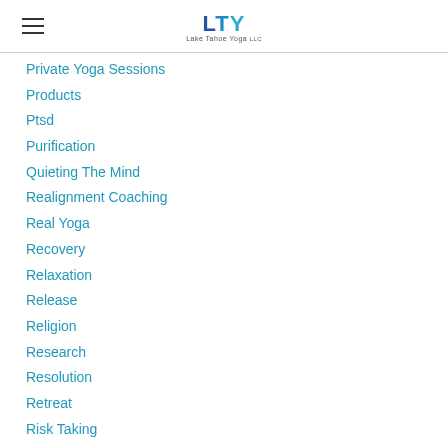LTY Lake Tahoe Yoga
Private Yoga Sessions
Products
Ptsd
Purification
Quieting The Mind
Realignment Coaching
Real Yoga
Recovery
Relaxation
Release
Religion
Research
Resolution
Retreat
Risk Taking
Saccidananda
Sadhana
Sadhana Pada